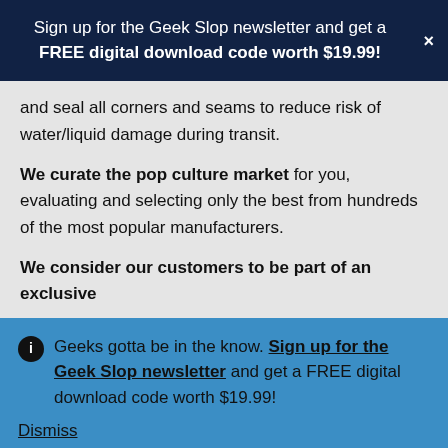Sign up for the Geek Slop newsletter and get a FREE digital download code worth $19.99!
and seal all corners and seams to reduce risk of water/liquid damage during transit.
We curate the pop culture market for you, evaluating and selecting only the best from hundreds of the most popular manufacturers.
We consider our customers to be part of an exclusive
Geeks gotta be in the know. Sign up for the Geek Slop newsletter and get a FREE digital download code worth $19.99! Dismiss
[Figure (infographic): Bottom navigation bar with person icon, search/magnifier icon, and shopping cart icon with badge showing 0]